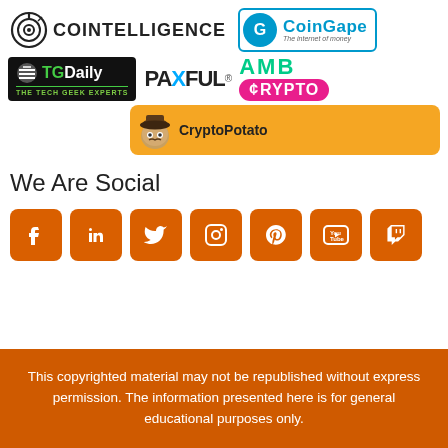[Figure (logo): Cointelligence logo with circular target icon and text COINTELLIGENCE]
[Figure (logo): CoinGape logo with G icon and tagline 'The internet of money']
[Figure (logo): TG Daily logo black background with green TG and Daily text, subtitle THE TECH GEEK EXPERTS]
[Figure (logo): Paxful logo in bold black with blue X]
[Figure (logo): AMB Crypto logo, AMB in green, CRYPTO in white on pink pill]
[Figure (logo): CryptoPotato logo with potato mascot on orange background]
We Are Social
[Figure (infographic): Seven orange social media icon buttons: Facebook, LinkedIn, Twitter, Instagram, Pinterest, YouTube, Twitch]
This copyrighted material may not be republished without express permission. The information presented here is for general educational purposes only.